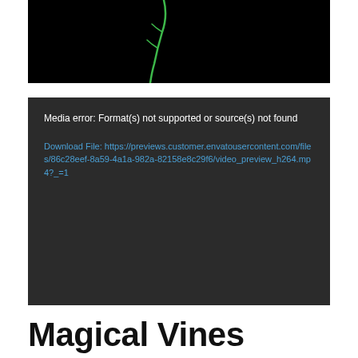[Figure (screenshot): Black video thumbnail with a thin green diagonal vine/plant stem visible against black background]
Media error: Format(s) not supported or source(s) not found

Download File: https://previews.customer.envatousercontent.com/files/86c28eef-8a59-4a1a-982a-82158e8c29f6/video_preview_h264.mp4?_=1
Magical Vines